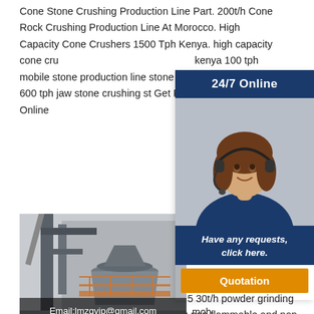Cone Stone Crushing Production Line Part. 200t/h Cone Rock Crushing Production Line At Morocco. High Capacity Cone Crushers 1500 Tph Kenya. high capacity cone crushers kenya 100 tph mobile stone production line stone . Chat With Sales » 600 tph jaw stone crushing st Get Price And Support Online
[Figure (infographic): 24/7 Online customer service widget with photo of woman wearing headset and blue uniform, CTA text 'Have any requests, click here.' and orange Quotation button]
[Figure (photo): Industrial cone crusher machine at a stone crushing plant facility. Email:lmzgvip@gmail.com watermark at bottom.]
30t Stone Neth mob crushers,portable crusher,mobile crushing plant powder production line production capacity 0.5 30t/h powder grinding equipment is mainly used for grinding non flammable and non explosive materials whose moh s hardness is below 9.3 tph jaw